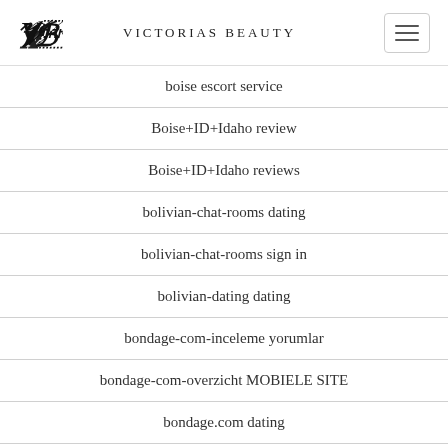Victorias Beauty
boise escort service
Boise+ID+Idaho review
Boise+ID+Idaho reviews
bolivian-chat-rooms dating
bolivian-chat-rooms sign in
bolivian-dating dating
bondage-com-inceleme yorumlar
bondage-com-overzicht MOBIELE SITE
bondage.com dating